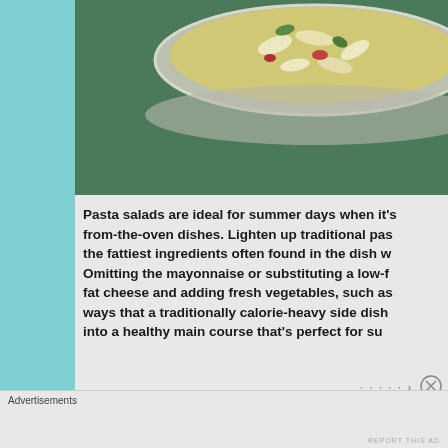[Figure (photo): Close-up photo of a bowl of pasta salad with vegetables and herbs on a dark green background, cropped at the top of the page]
Pasta salads are ideal for summer days when it's too hot for fresh-from-the-oven dishes. Lighten up traditional pasta salad by swapping the fattiest ingredients often found in the dish with healthier options. Omitting the mayonnaise or substituting a low-fat version, using low-fat cheese and adding fresh vegetables, such as ... ways that a traditionally calorie-heavy side dish ... into a healthy main course that's perfect for su...
Advertisements